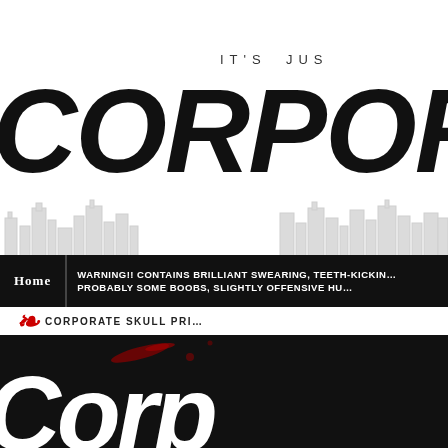IT'S JUS
CORPORAT
[Figure (illustration): Gray city skyline silhouette with outlined buildings behind the title text]
Home | WARNING!! CONTAINS BRILLIANT SWEARING, TEETH-KICKIN... PROBABLY SOME BOOBS, SLIGHTLY OFFENSIVE HU...
CORPORATE SKULL PRI...
[Figure (illustration): Black background with large white hand-lettered text partially visible, resembling 'Corp' or similar, with red blood splatter effects]